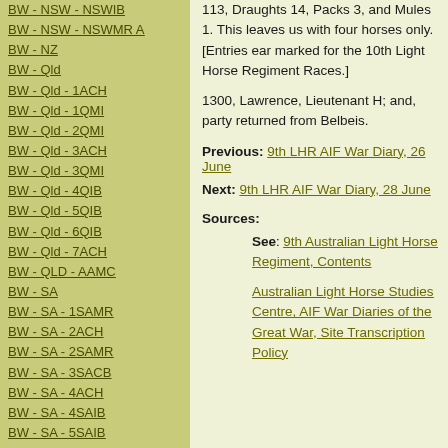BW - NSW - NSWIB
BW - NSW - NSWMR  A
BW - NZ
BW - Qld
BW - Qld - 1ACH
BW - Qld - 1QMI
BW - Qld - 2QMI
BW - Qld - 3ACH
BW - Qld - 3QMI
BW - Qld - 4QIB
BW - Qld - 5QIB
BW - Qld - 6QIB
BW - Qld - 7ACH
BW - QLD - AAMC
BW - SA
BW - SA - 1SAMR
BW - SA - 2ACH
BW - SA - 2SAMR
BW - SA - 3SACB
BW - SA - 4ACH
BW - SA - 4SAIB
BW - SA - 5SAIB
BW - SA - 6SAIB
BW - SA - 8ACH
BW - SA - AAMC
BW - Tas
BW - Tas - 1ACH
BW - Tas - 1TIB
113, Draughts 14, Packs 3, and Mules 1. This leaves us with four horses only. [Entries ear marked for the 10th Light Horse Regiment Races.]
1300, Lawrence, Lieutenant H; and, party returned from Belbeis.
Previous: 9th LHR AIF War Diary, 26 June
Next: 9th LHR AIF War Diary, 28 June
Sources:
See: 9th Australian Light Horse Regiment, Contents
Australian Light Horse Studies Centre, AIF War Diaries of the Great War, Site Transcription Policy